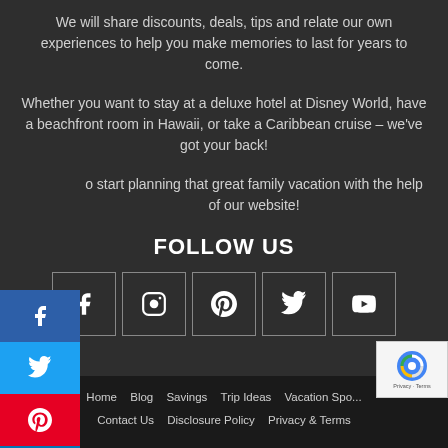We will share discounts, deals, tips and relate our own experiences to help you make memories to last for years to come.
Whether you want to stay at a deluxe hotel at Disney World, have a beachfront room in Hawaii, or take a Caribbean cruise – we've got your back!
o start planning that great family vacation with the help of our website!
FOLLOW US
[Figure (infographic): Social media icon buttons: Facebook, Instagram, Pinterest, Twitter, YouTube]
Home  Blog  Savings  Trip Ideas  Vacation Spo...  Contact Us  Disclosure Policy  Privacy & Terms